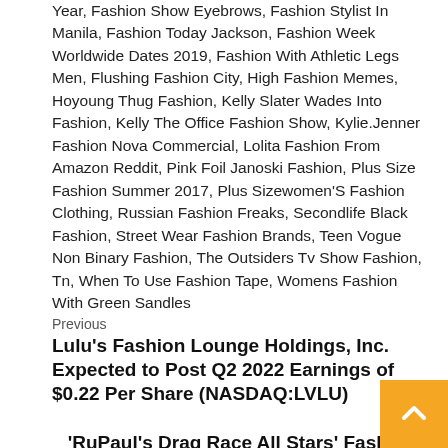Year, Fashion Show Eyebrows, Fashion Stylist In Manila, Fashion Today Jackson, Fashion Week Worldwide Dates 2019, Fashion With Athletic Legs Men, Flushing Fashion City, High Fashion Memes, Hoyoung Thug Fashion, Kelly Slater Wades Into Fashion, Kelly The Office Fashion Show, Kylie.Jenner Fashion Nova Commercial, Lolita Fashion From Amazon Reddit, Pink Foil Janoski Fashion, Plus Size Fashion Summer 2017, Plus Sizewomen'S Fashion Clothing, Russian Fashion Freaks, Secondlife Black Fashion, Street Wear Fashion Brands, Teen Vogue Non Binary Fashion, The Outsiders Tv Show Fashion, Tn, When To Use Fashion Tape, Womens Fashion With Green Sandles
Previous
Lulu's Fashion Lounge Holdings, Inc. Expected to Post Q2 2022 Earnings of $0.22 Per Share (NASDAQ:LVLU)
Next
'RuPaul's Drag Race All Stars' Fashion Photo Review Roasts Wildest Shoe Moments From Season 7's F…